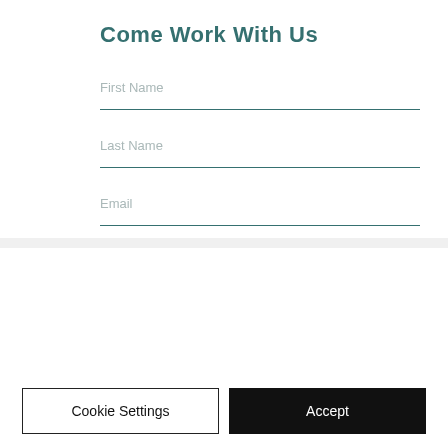Come Work With Us
First Name
Last Name
Email
We use cookies and similar technologies to enable services and functionality on our site and to understand your interaction with our service. By clicking on accept, you agree to our use of such technologies for marketing and analytics. See Privacy Policy
Cookie Settings
Accept